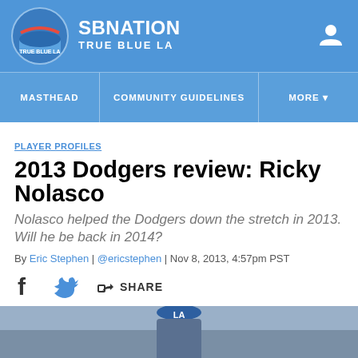SBNATION TRUE BLUE LA
MASTHEAD | COMMUNITY GUIDELINES | MORE
PLAYER PROFILES
2013 Dodgers review: Ricky Nolasco
Nolasco helped the Dodgers down the stretch in 2013. Will he be back in 2014?
By Eric Stephen | @ericstephen | Nov 8, 2013, 4:57pm PST
SHARE
[Figure (photo): Photo of a Dodgers player wearing blue LA cap, partially visible at bottom of page]